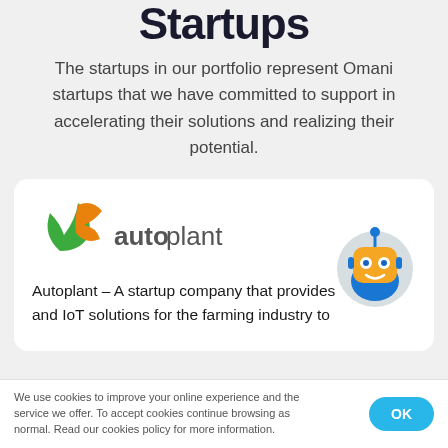Startups
The startups in our portfolio represent Omani startups that we have committed to support in accelerating their solutions and realizing their potential.
[Figure (logo): Autoplant company logo with green and orange leaf icons and the text 'autoplant']
Autoplant – A startup company that provides and IoT solutions for the farming industry to
[Figure (illustration): Orange robot chatbot icon with blue hat and blue body, overlapping the card]
We use cookies to improve your online experience and the service we offer. To accept cookies continue browsing as normal. Read our cookies policy for more information.